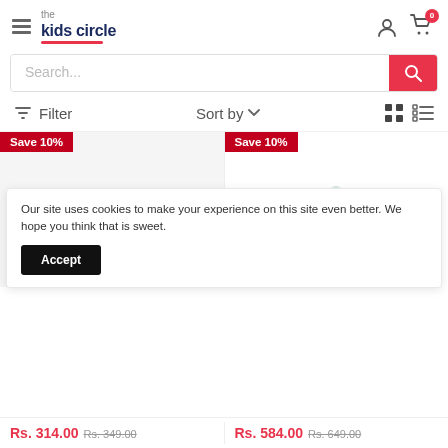the kids circle — navigation header with hamburger menu, logo, user icon, cart icon with badge 0
Search...
Filter   Sort by
Save 10%
Save 10%
Our site uses cookies to make your experience on this site even better. We hope you think that is sweet.
Accept
Rs. 314.00   Rs. 349.00   Rs. 584.00   Rs. 649.00